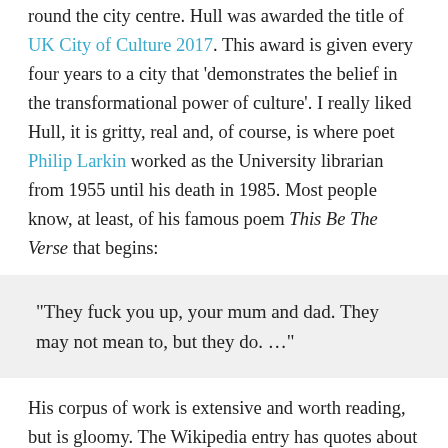round the city centre. Hull was awarded the title of UK City of Culture 2017. This award is given every four years to a city that 'demonstrates the belief in the transformational power of culture'. I really liked Hull, it is gritty, real and, of course, is where poet Philip Larkin worked as the University librarian from 1955 until his death in 1985. Most people know, at least, of his famous poem This Be The Verse that begins:
“They fuck you up, your mum and dad. They may not mean to, but they do. …”
His corpus of work is extensive and worth reading, but is gloomy. The Wikipedia entry has quotes about him: